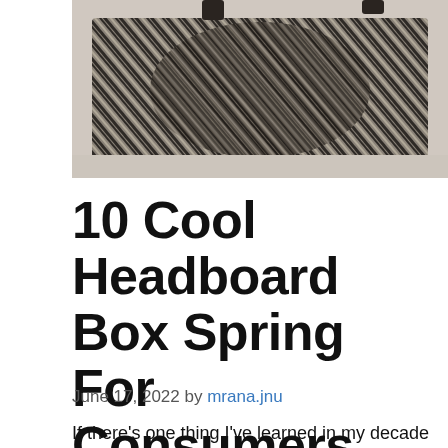[Figure (photo): A patterned area rug with wavy zebra-like stripe design in dark grey and cream tones, photographed from above with furniture legs visible at the top]
10 Cool Headboard Box Spring For Consumers
June 17, 2022 by mrana.jnu
If there's one thing I've learned in my decade of job, it's that you need some sort